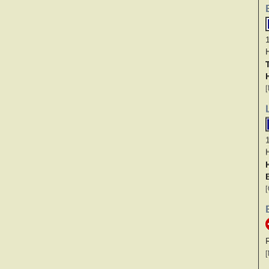BJ's Restaurant & Brewhouse — H
16060 Beach Boulevard
Huntington Beach California 92647
Telephone: +1 714-842-9242
Hours: Sunday-Thursday 11:00am-midnight, F
[Map] [Update]
Los Angeles Ale Works
12918 Cerise Avenue
Hawthorne California 90250
Hours: Tuesday 4-9pm, Wednesday-Thursday noon-8pm
Brewer: John Rockwell, Kristofor Barnes
[Contact] [Map] [Update]
Beecher Brewing — Planned
Redondo Beach California
[Map] [Update]
Common Space Brewing
3411 West El Segundo Boulevard
Hawthorne California 90250
Telephone: +1 310-666-2825
[Contact] [Map] [Update]